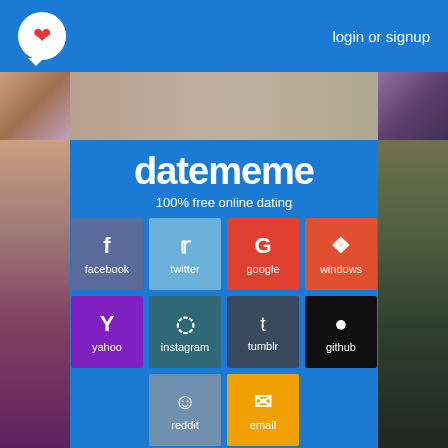login or signup
datememe
100% free online dating
facebook
twitter
google
windows
yahoo
instagram
tumblr
github
reddit
email
Try Anonymous
Don't worry we never post anything to your social